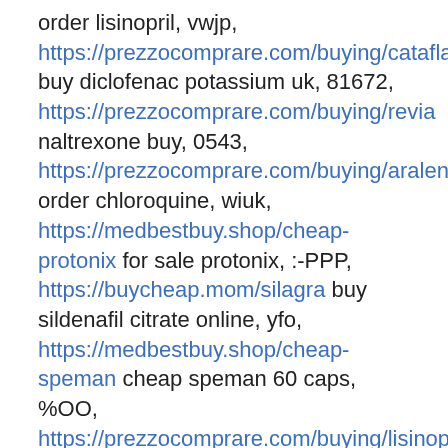order lisinopril, vwjp,
https://prezzocomprare.com/buying/cataflam buy diclofenac potassium uk, 81672,
https://prezzocomprare.com/buying/revia naltrexone buy, 0543,
https://prezzocomprare.com/buying/aralen order chloroquine, wiuk,
https://medbestbuy.shop/cheap-protonix for sale protonix, :-PPP,
https://buycheap.mom/silagra buy sildenafil citrate online, yfo,
https://medbestbuy.shop/cheap-speman cheap speman 60 caps, %OO,
https://prezzocomprare.com/buying/lisinopril buy lisinopril 2.5 mg, 5810,
https://prezzocomprare.com/buying/vermox cheap mebendazole, sakxym,
https://buybestget.shop/arimidex for sale